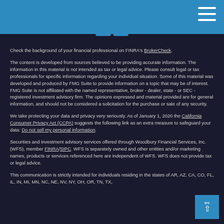Check the background of your financial professional on FINRA's BrokerCheck.
The content is developed from sources believed to be providing accurate information. The information in this material is not intended as tax or legal advice. Please consult legal or tax professionals for specific information regarding your individual situation. Some of this material was developed and produced by FMG Suite to provide information on a topic that may be of interest. FMG Suite is not affiliated with the named representative, broker - dealer, state - or SEC - registered investment advisory firm. The opinions expressed and material provided are for general information, and should not be considered a solicitation for the purchase or sale of any security.
We take protecting your data and privacy very seriously. As of January 1, 2020 the California Consumer Privacy Act (CCPA) suggests the following link as an extra measure to safeguard your data: Do not sell my personal information.
Securities and investment advisory services offered through Woodbury Financial Services, Inc. (WFS), member FINRA/SIPC. WFS is separately owned and other entities and/or marketing names, products or services referenced here are independent of WFS. WFS does not provide tax or legal advice.
This communication is strictly intended for individuals residing in the states of AR, AZ, CA, CO, FL, IL, IN, MI, MN, NC, NE, NV, NY, OH, OR, TN, TX, ... WI